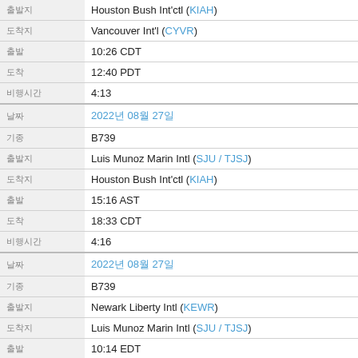| Field | Value |
| --- | --- |
|  | Houston Bush Int'ctl (KIAH) |
|  | Vancouver Int'l (CYVR) |
|  | 10:26 CDT |
|  | 12:40 PDT |
|  | 4:13 |
|  | 2022년 08월 27일 |
|  | B739 |
|  | Luis Munoz Marin Intl (SJU / TJSJ) |
|  | Houston Bush Int'ctl (KIAH) |
|  | 15:16 AST |
|  | 18:33 CDT |
|  | 4:16 |
|  | 2022년 08월 27일 |
|  | B739 |
|  | Newark Liberty Intl (KEWR) |
|  | Luis Munoz Marin Intl (SJU / TJSJ) |
|  | 10:14 EDT |
|  | 13:37 AST |
|  | 3:23 |
|  | 2022년 08월 26일 |